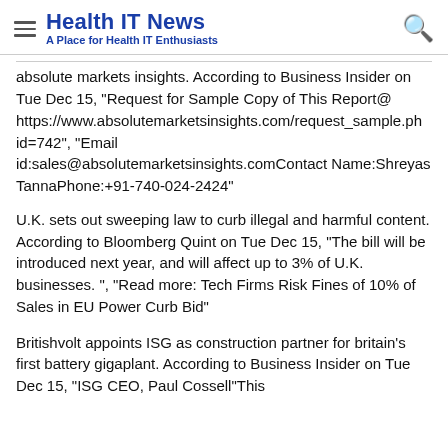Health IT News — A Place for Health IT Enthusiasts
absolute markets insights. According to Business Insider on Tue Dec 15, "Request for Sample Copy of This Report@ https://www.absolutemarketsinsights.com/request_sample.ph id=742", "Email id:sales@absolutemarketsinsights.comContact Name:Shreyas TannaPhone:+91-740-024-2424"
U.K. sets out sweeping law to curb illegal and harmful content. According to Bloomberg Quint on Tue Dec 15, "The bill will be introduced next year, and will affect up to 3% of U.K. businesses. ", "Read more: Tech Firms Risk Fines of 10% of Sales in EU Power Curb Bid"
Britishvolt appoints ISG as construction partner for britain's first battery gigaplant. According to Business Insider on Tue Dec 15, "ISG CEO, Paul Cossell"This